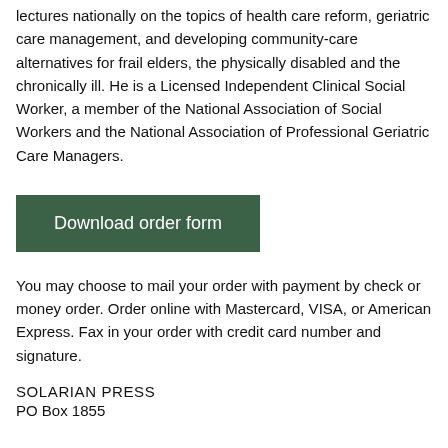lectures nationally on the topics of health care reform, geriatric care management, and developing community-care alternatives for frail elders, the physically disabled and the chronically ill. He is a Licensed Independent Clinical Social Worker, a member of the National Association of Social Workers and the National Association of Professional Geriatric Care Managers.
Download order form
You may choose to mail your order with payment by check or money order. Order online with Mastercard, VISA, or American Express. Fax in your order with credit card number and signature.
SOLARIAN PRESS
PO Box 1855